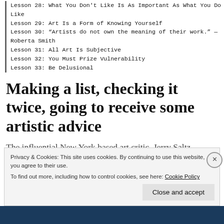Lesson 28: What You Don't Like Is As Important As What You Do Like
Lesson 29: Art Is a Form of Knowing Yourself
Lesson 30: “Artists do not own the meaning of their work.” — Roberta Smith
Lesson 31: All Art Is Subjective
Lesson 32: You Must Prize Vulnerability
Lesson 33: Be Delusional
Making a list, checking it twice, going to receive some artistic advice
The influential New York based art critic, Jerry Saltz, recently published a list of thirty-three ‘lessons for being an artist.’ … More
Privacy & Cookies: This site uses cookies. By continuing to use this website, you agree to their use.
To find out more, including how to control cookies, see here: Cookie Policy